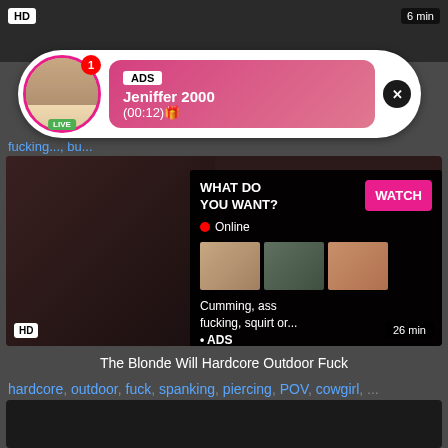[Figure (screenshot): Adult video website screenshot showing video thumbnails, advertisement overlay with 'Jeniffer 2000' live notification popup, and inline ad overlay with 'WHAT DO YOU WANT? WATCH' button]
ADS
Jeniffer 2000
(00:12)🎁
fucking..., bu...
WHAT DO YOU WANT? WATCH
● Online
Cumming, ass fucking, squirt or...
• ADS
HD    26 min
The Blonde Will Hardcore Outdoor Fuck
hardcore, outdoor, fuck, spanking, piercing, POV, cowgirl, ...